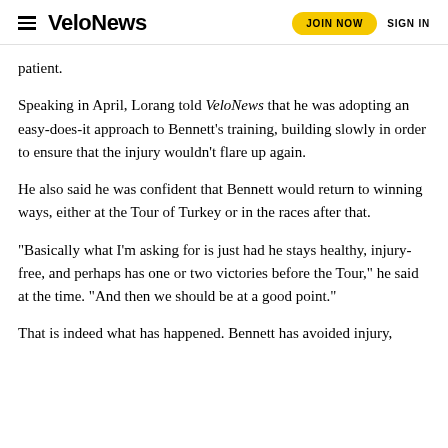VeloNews | JOIN NOW | SIGN IN
patient.
Speaking in April, Lorang told VeloNews that he was adopting an easy-does-it approach to Bennett's training, building slowly in order to ensure that the injury wouldn't flare up again.
He also said he was confident that Bennett would return to winning ways, either at the Tour of Turkey or in the races after that.
“Basically what I’m asking for is just had he stays healthy, injury-free, and perhaps has one or two victories before the Tour,” he said at the time. “And then we should be at a good point.”
That is indeed what has happened. Bennett has avoided injury,